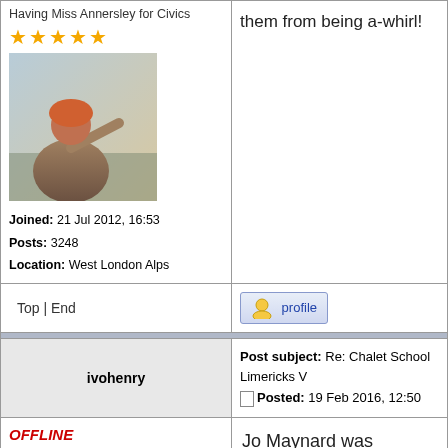Having Miss Annersley for Civics
[Figure (illustration): Avatar image of a robed figure with orange/red head gesturing toward the sea]
Joined: 21 Jul 2012, 16:53
Posts: 3248
Location: West London Alps
Top | End
[Figure (illustration): Profile button with gold person icon]
Post subject: Re: Chalet School Limericks V
Posted: 19 Feb 2016, 12:50
ivohenry
OFFLINE
Playing end of term games
[Figure (illustration): Avatar image showing book worm illustration with text 'book worm']
Joined: 03 Jan 2010, 22:35
Posts: 2532
Location: Berkshire, England
Jo Maynard was dreaming of quads